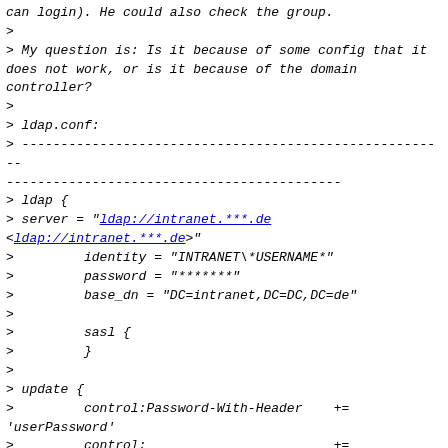can login). He could also check the group.
>
> My question is: Is it because of some config that it does not work, or is it because of the domain controller?
>
> ldap.conf:
> --------------------------------------------------------------------------------------------------------------------------------
> ldap {
> server = "ldap://intranet.***.de <ldap://intranet.***.de>"
>         identity = "INTRANET\*USERNAME*"
>         password = "*******"
>         base_dn = "DC=intranet,DC=DC,DC=de"
>
>         sasl {
>         }
>
> update {
>         control:Password-With-Header    += 'userPassword'
>         control:                        += 'radiusControlAttribute'
>         request:                        += 'radiusRequestAttribute'
>         reply:                          += 'radiusReplyAttribute'
>         }
>